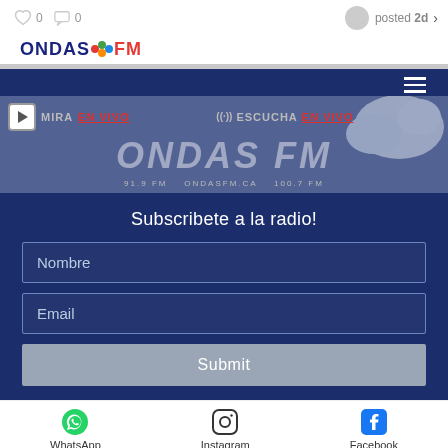❤ 0  💬 0   posted 2d ›
[Figure (logo): ONDAS FM radio station logo with colorful dots]
[Figure (screenshot): ONDAS FM website screenshot showing MIRA EN VIVO, ESCUCHA EN VIVO navigation, Subscribete a la radio form with Nombre and Email fields and Submit button]
Subscribete a la radio!
Nombre
Email
Submit
WhatsApp  Instagram  Facebook